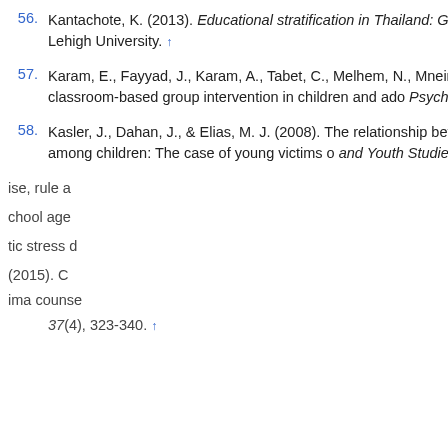56. Kantachote, K. (2013). Educational stratification in Thailand: Ge... dissertations, paper 1522, Lehigh University. ↑
57. Karam, E., Fayyad, J., Karam, A., Tabet, C., Melhem, N., Mneimneh, ... specificity of a classroom-based group intervention in children and ado... Psychiatry, 7, 103-109. ↑
58. Kasler, J., Dahan, J., & Elias, M. J. (2008). The relationship betwee... traumatic stress disorder among children: The case of young victims o... and Youth Studies, 3(3), 182-191. ↑
...ise, rule a...
...chool age...
...tic stress d...
...(2015). C... ima counse... 37(4), 323-340. ↑
This website uses cookies. By continuing to use this website you are giving consent to cookies being used. For information on cookies and how you can disable them visit our Privacy and Cookie Policy. AGREE & PROCEED